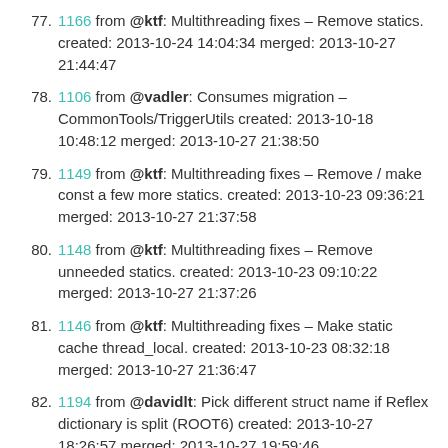77. 1166 from @ktf: Multithreading fixes – Remove statics. created: 2013-10-24 14:04:34 merged: 2013-10-27 21:44:47
78. 1106 from @vadler: Consumes migration – CommonTools/TriggerUtils created: 2013-10-18 10:48:12 merged: 2013-10-27 21:38:50
79. 1149 from @ktf: Multithreading fixes – Remove / make const a few more statics. created: 2013-10-23 09:36:21 merged: 2013-10-27 21:37:58
80. 1148 from @ktf: Multithreading fixes – Remove unneeded statics. created: 2013-10-23 09:10:22 merged: 2013-10-27 21:37:26
81. 1146 from @ktf: Multithreading fixes – Make static cache thread_local. created: 2013-10-23 08:32:18 merged: 2013-10-27 21:36:47
82. 1194 from @davidlt: Pick different struct name if Reflex dictionary is split (ROOT6) created: 2013-10-27 18:26:57 merged: 2013-10-27 19:59:46